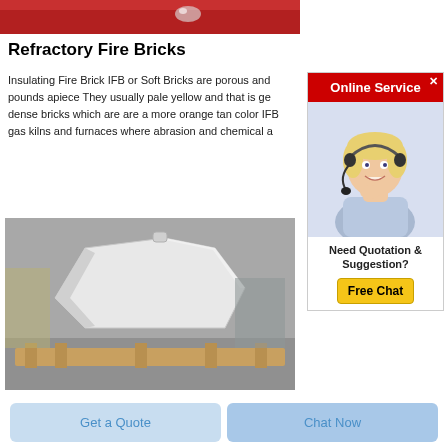[Figure (photo): Red background with a water droplet/glass bead on a reflective surface]
Refractory Fire Bricks
Insulating Fire Brick IFB or Soft Bricks are porous and pounds apiece They usually pale yellow and that is ge dense bricks which are are a more orange tan color IFB gas kilns and furnaces where abrasion and chemical a
[Figure (other): Online Service advertisement panel with a blonde woman wearing a headset, red header, and Free Chat button]
[Figure (photo): Large white refractory brick or ceramic piece with angular shape on wooden pallets in a warehouse]
Get a Quote
Chat Now